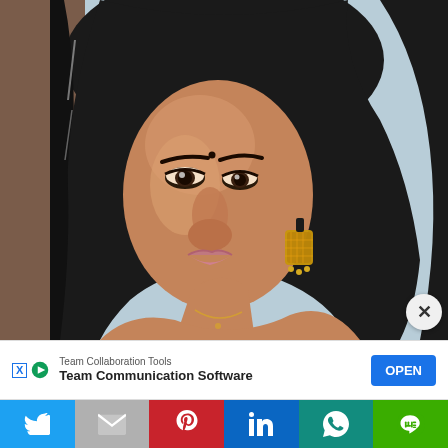[Figure (photo): Close-up portrait photo of a young South Asian woman with long black hair, brown eyes, wearing gold jhumka earrings and a necklace, with a bindi on her forehead. Background is light blue/grey.]
[Figure (screenshot): Advertisement banner: 'Team Collaboration Tools' / 'Team Communication Software' with an OPEN button in blue, and ad icons (X and play button) on the left.]
[Figure (infographic): Social sharing bar with six colored buttons: Twitter (blue bird icon), Gmail (grey M icon), Pinterest (red P icon), LinkedIn (blue in icon), WhatsApp (teal phone icon), Line (green chat icon).]